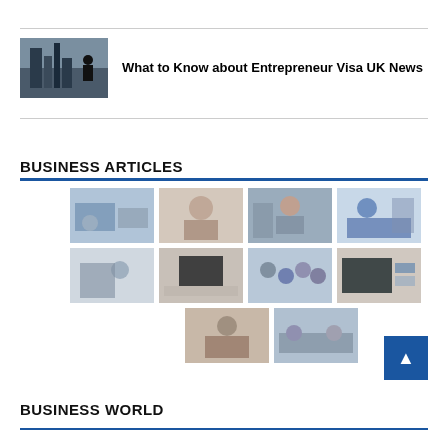[Figure (photo): Businessman looking at city skyline from rooftop]
What to Know about Entrepreneur Visa UK News
BUSINESS ARTICLES
[Figure (photo): Grid of 10 business-themed stock photos arranged in 3 rows]
BUSINESS WORLD